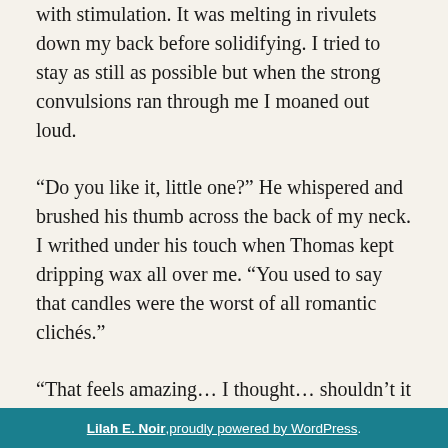with stimulation. It was melting in rivulets down my back before solidifying. I tried to stay as still as possible but when the strong convulsions ran through me I moaned out loud.
“Do you like it, little one?” He whispered and brushed his thumb across the back of my neck. I writhed under his touch when Thomas kept dripping wax all over me. “You used to say that candles were the worst of all romantic clichés.”
“That feels amazing… I thought… shouldn’t it hurt?” My mind was split in two, as relaxed as if I were in a massage parlor, and right on the edge of insanity. His slow comforting movements and the increasing brightness of the flame were torturous. But I loved what
Lilah E. Noir, proudly powered by WordPress.